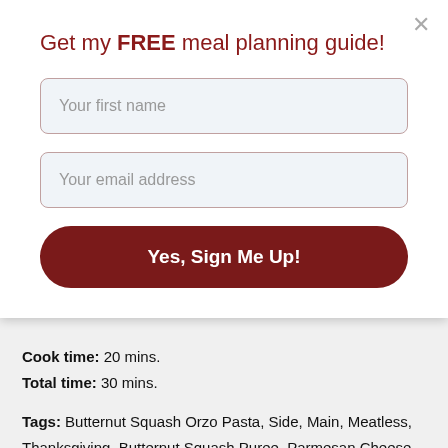Get my FREE meal planning guide!
Your first name
Your email address
Yes, Sign Me Up!
Cook time: 20 mins.
Total time: 30 mins.
Tags: Butternut Squash Orzo Pasta, Side, Main, Meatless, Thanksgiving, Butternut Squash Puree, Parmesan Cheese, Spinach, Pasta, Vegetables
Enjoy visiting all of the #SundaySupper family recipes for lightening up the holidays...
Drinks